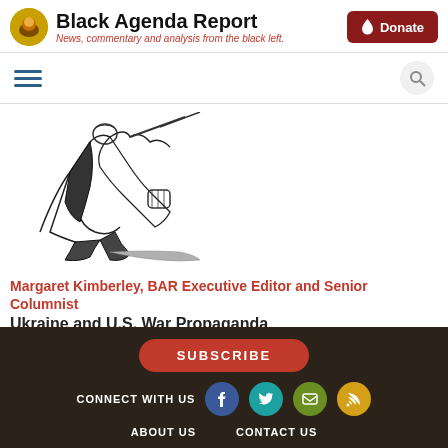Black Agenda Report — News, commentary and analysis from the black left.
[Figure (illustration): Black and white sketch illustration of a person crouching or struggling, with abstract angular shapes]
Margaret Kimberley, BAR Executive Editor and Senior Columnist
Ukraine and U.S. War Propaganda
26 January 2022
The 2014 U.S. sponsored coup against the elected government
SUBSCRIBE | CONNECT WITH US | ABOUT US | CONTACT US